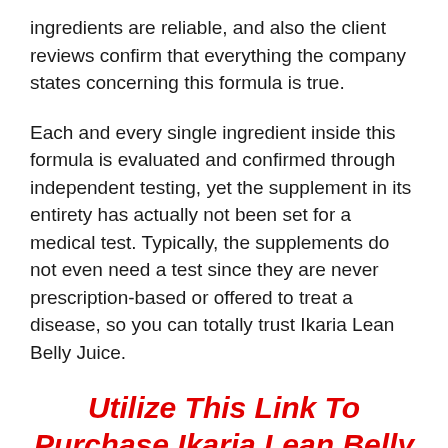ingredients are reliable, and also the client reviews confirm that everything the company states concerning this formula is true.
Each and every single ingredient inside this formula is evaluated and confirmed through independent testing, yet the supplement in its entirety has actually not been set for a medical test. Typically, the supplements do not even need a test since they are never prescription-based or offered to treat a disease, so you can totally trust Ikaria Lean Belly Juice.
Utilize This Link To Purchase Ikaria Lean Belly Juice From